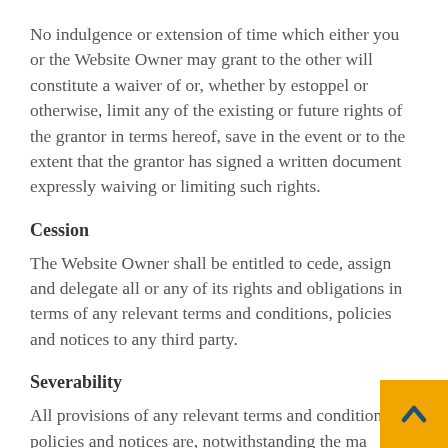No indulgence or extension of time which either you or the Website Owner may grant to the other will constitute a waiver of or, whether by estoppel or otherwise, limit any of the existing or future rights of the grantor in terms hereof, save in the event or to the extent that the grantor has signed a written document expressly waiving or limiting such rights.
Cession
The Website Owner shall be entitled to cede, assign and delegate all or any of its rights and obligations in terms of any relevant terms and conditions, policies and notices to any third party.
Severability
All provisions of any relevant terms and conditions, policies and notices are, notwithstanding the manner in which they have been grouped together or linked